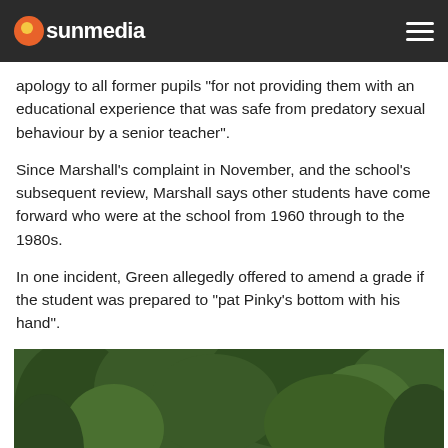sunmedia
apology to all former pupils “for not providing them with an educational experience that was safe from predatory sexual behaviour by a senior teacher”.
Since Marshall’s complaint in November, and the school’s subsequent review, Marshall says other students have come forward who were at the school from 1960 through to the 1980s.
In one incident, Green allegedly offered to amend a grade if the student was prepared to “pat Pinky’s bottom with his hand”.
[Figure (photo): A bald man with glasses standing outdoors in front of trees and green foliage, photographed from the chest up.]